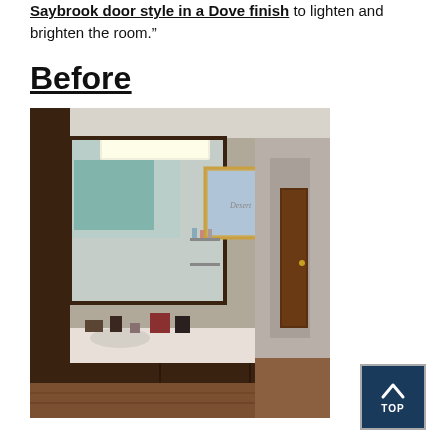Saybrook door style in a Dove finish to lighten and brighten the room.”
Before
[Figure (photo): Before photo of a bathroom vanity with dark wood cabinets, a large mirror, wall-mounted shelves with toiletries, a long countertop with sink, and a view into a hallway with wood doors and light walls painted teal/blue-green.]